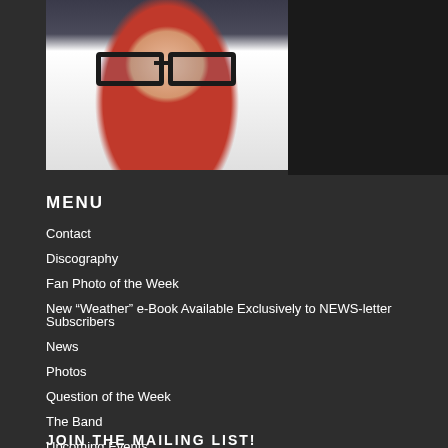[Figure (photo): Selfie photo of a woman with blonde hair and black-rimmed glasses, wearing a red top, taken in what appears to be a kitchen. The right portion of the top area is dark background.]
MENU
Contact
Discography
Fan Photo of the Week
New “Weather” e-Book Available Exclusively to NEWS-letter Subscribers
News
Photos
Question of the Week
The Band
Upcoming Events
Videos
JOIN THE MAILING LIST!